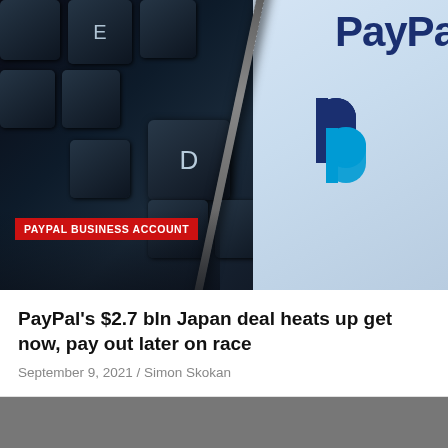[Figure (photo): Keyboard keys (E, D, C visible) on dark background with PayPal logo and branding visible on the right side. PAYPAL BUSINESS ACCOUNT badge overlaid in red at bottom left.]
PAYPAL BUSINESS ACCOUNT
PayPal's $2.7 bln Japan deal heats up get now, pay out later on race
September 9, 2021 / Simon Skokan
[Figure (photo): Gray area (partially visible image) at bottom of page.]